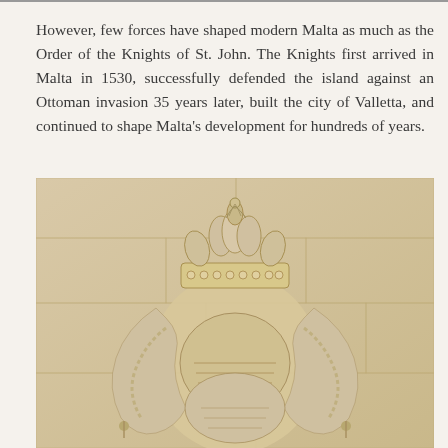However, few forces have shaped modern Malta as much as the Order of the Knights of St. John. The Knights first arrived in Malta in 1530, successfully defended the island against an Ottoman invasion 35 years later, built the city of Valletta, and continued to shape Malta's development for hundreds of years.
[Figure (photo): A stone carved coat of arms featuring a crown at the top, decorative mantling, a helmet, and ornate rope/bead detailing, mounted on a limestone block wall background.]